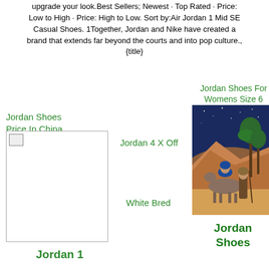upgrade your look.Best Sellers; Newest · Top Rated · Price: Low to High · Price: High to Low. Sort by:Air Jordan 1 Mid SE Casual Shoes. 1Together, Jordan and Nike have created a brand that extends far beyond the courts and into pop culture., {title}
Jordan Shoes Price In China
[Figure (photo): Broken image placeholder icon]
Jordan 4 X Off
White Bred
Jordan Shoes For Womens Size 6
[Figure (illustration): Religious illustration showing Mary on a donkey led by Joseph walking through a desert landscape with palm trees and starry night sky]
Jordan Shoes
Jordan 1